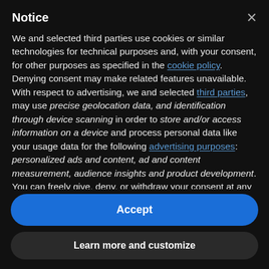Notice
We and selected third parties use cookies or similar technologies for technical purposes and, with your consent, for other purposes as specified in the cookie policy. Denying consent may make related features unavailable.
With respect to advertising, we and selected third parties, may use precise geolocation data, and identification through device scanning in order to store and/or access information on a device and process personal data like your usage data for the following advertising purposes: personalized ads and content, ad and content measurement, audience insights and product development.
You can freely give, deny, or withdraw your consent at any time by accessing the preferences panel.
You can consent to the use of such technologies by using the
Accept
Learn more and customize